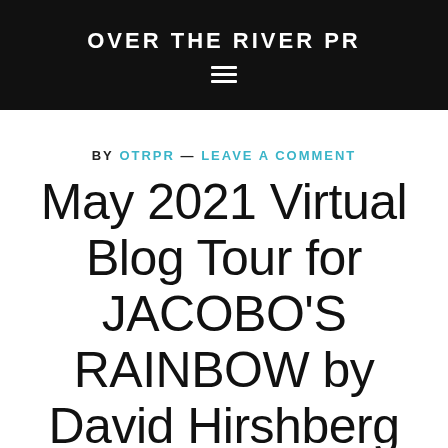OVER THE RIVER PR
BY OTRPR — LEAVE A COMMENT
May 2021 Virtual Blog Tour for JACOBO'S RAINBOW by David Hirshberg